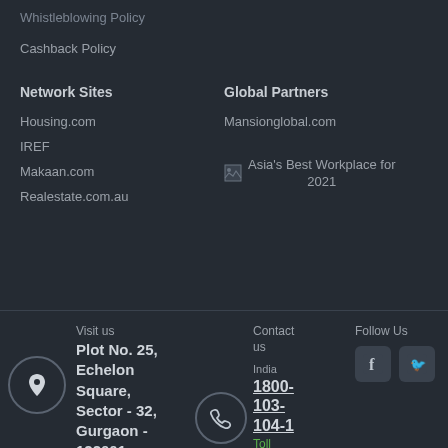Whistleblowing Policy
Cashback Policy
Network Sites
Housing.com
IREF
Makaan.com
Realestate.com.au
Global Partners
Mansionglobal.com
[Figure (logo): Asia's Best Workplace for 2021 badge/logo]
Visit us
Plot No. 25, Echelon Square, Sector - 32, Gurgaon - 122001
Contact us
India 1800-103-104-1
Toll
Free
Follow Us